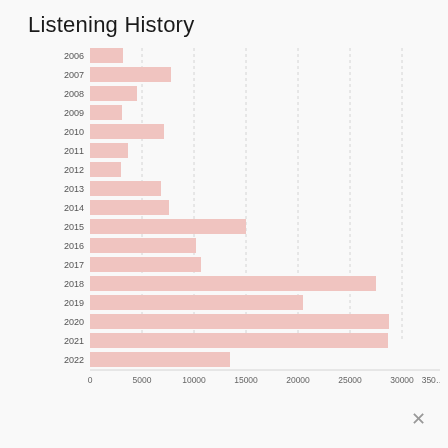Listening History
[Figure (bar-chart): Listening History]